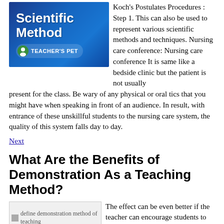[Figure (illustration): Scientific Method Teacher's Pet branded image with blue background and bold white text]
Koch's Postulates Procedures : Step 1. This can also be used to represent various scientific methods and techniques. Nursing care conference: Nursing care conference It is same like a bedside clinic but the patient is not usually present for the class. Be wary of any physical or oral tics that you might have when speaking in front of an audience. In result, with entrance of these unskillful students to the nursing care system, the quality of this system falls day to day.
Next
What Are the Benefits of Demonstration As a Teaching Method?
[Figure (illustration): define demonstration method of teaching placeholder image]
The effect can be even better if the teacher can encourage students to listen and watch. When they have a good understanding of the circumstances, students and teachers work to find a solution they can actively implement. Thus, in the first step, teacher prepares himself and all the necessary things with the help of which he can